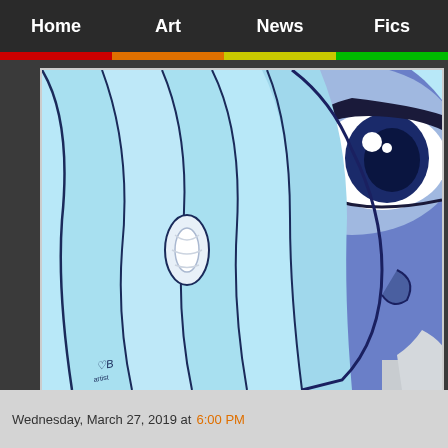Home | Art | News | Fics
[Figure (illustration): Anime/manga style illustration of a blue-skinned female character with long light blue hair, partially covering her face. Close-up view showing one large blue eye, a teardrop on her cheek, and flowing hair with a white hair tie. The character appears to be wearing a white garment with buttons. Artist signature visible in bottom-left corner.]
Wednesday, March 27, 2019 at 6:00 PM